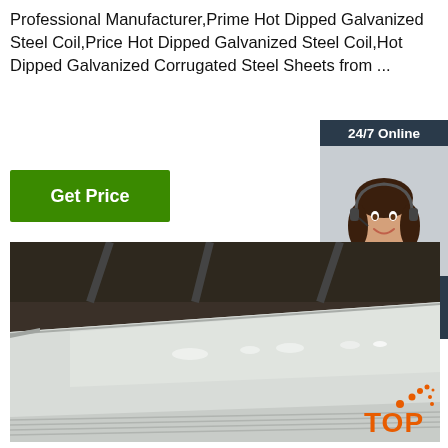Professional Manufacturer,Prime Hot Dipped Galvanized Steel Coil,Price Hot Dipped Galvanized Steel Coil,Hot Dipped Galvanized Corrugated Steel Sheets from ...
Get Price
[Figure (photo): Customer service representative with headset, smiling, with '24/7 Online' header, 'Click here for free chat!' text and orange QUOTATION button]
[Figure (photo): Stack of galvanized steel sheets/coils in a warehouse, showing reflective metallic surface with overhead lighting reflections]
[Figure (logo): Orange TOP logo with dotted arc above text]